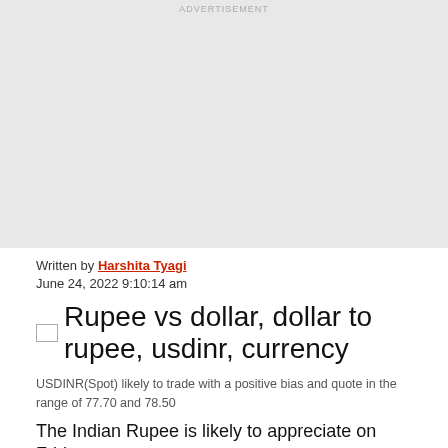[Figure (other): Advertisement placeholder block with light gray background and 'ADVERTISEMENT' label at top]
Written by Harshita Tyagi
June 24, 2022 9:10:14 am
[Figure (photo): Broken image placeholder for: Rupee vs dollar, dollar to rupee, usdinr, currency]
USDINR(Spot) likely to trade with a positive bias and quote in the range of 77.70 and 78.50
The Indian Rupee is likely to appreciate on Friday